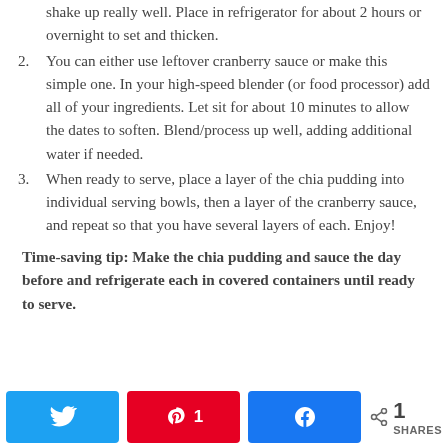shake up really well. Place in refrigerator for about 2 hours or overnight to set and thicken.
2. You can either use leftover cranberry sauce or make this simple one. In your high-speed blender (or food processor) add all of your ingredients. Let sit for about 10 minutes to allow the dates to soften. Blend/process up well, adding additional water if needed.
3. When ready to serve, place a layer of the chia pudding into individual serving bowls, then a layer of the cranberry sauce, and repeat so that you have several layers of each. Enjoy!
Time-saving tip: Make the chia pudding and sauce the day before and refrigerate each in covered containers until ready to serve.